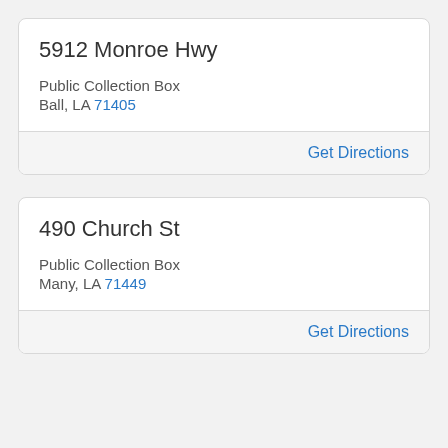5912 Monroe Hwy
Public Collection Box
Ball, LA 71405
Get Directions
490 Church St
Public Collection Box
Many, LA 71449
Get Directions